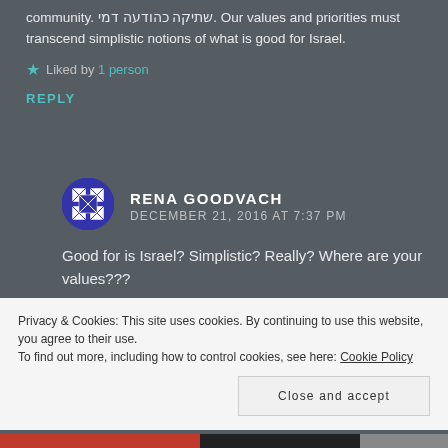community. שתיקה כהודעה דמי. Our values and priorities must transcend simplistic notions of what is good for Israel.
Liked by 1 person
REPLY
[Figure (illustration): Avatar icon with blue and white geometric/quilt pattern in a circle]
RENA GOODVACH
DECEMBER 21, 2016 AT 7:37 PM
Good for is Israel? Simplistic? Really? Where are your values???
Like
Privacy & Cookies: This site uses cookies. By continuing to use this website, you agree to their use.
To find out more, including how to control cookies, see here: Cookie Policy
Close and accept